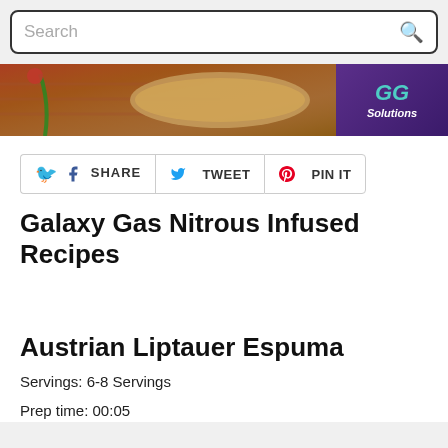Search
[Figure (photo): Banner image showing food (bread/pastry) on bamboo mat with GG Solutions logo on purple background]
SHARE  TWEET  PIN IT
Galaxy Gas Nitrous Infused Recipes
Austrian Liptauer Espuma
Servings: 6-8 Servings
Prep time: 00:05